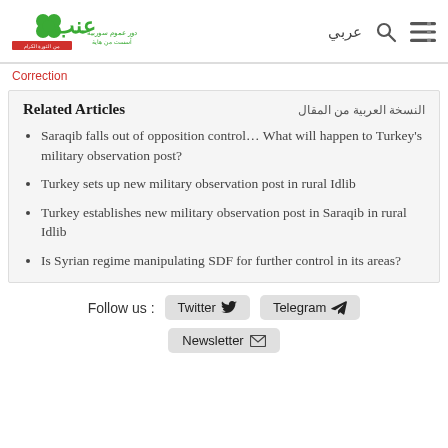enab baladi — عربي
Correction
Related Articles
Saraqib falls out of opposition control... What will happen to Turkey's military observation post?
Turkey sets up new military observation post in rural Idlib
Turkey establishes new military observation post in Saraqib in rural Idlib
Is Syrian regime manipulating SDF for further control in its areas?
Follow us :
Twitter
Telegram
Newsletter